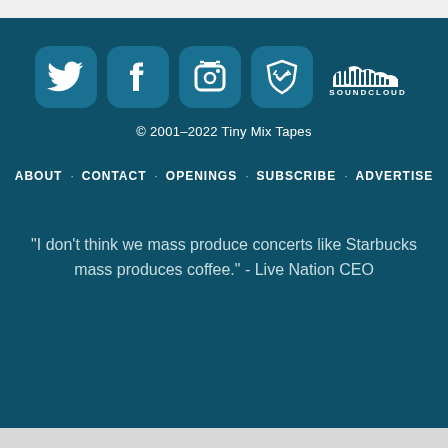[Figure (infographic): Five social media icons in white on teal rounded-square backgrounds: Twitter bird, Facebook f, Instagram camera, Brave browser lion, and SoundCloud logo with SOUNDCLOUD text]
© 2001–2022 Tiny Mix Tapes
ABOUT · CONTACT · OPENINGS · SUBSCRIBE · ADVERTISE
“I don’t think we mass produce concerts like Starbucks mass produces coffee.” - Live Nation CEO